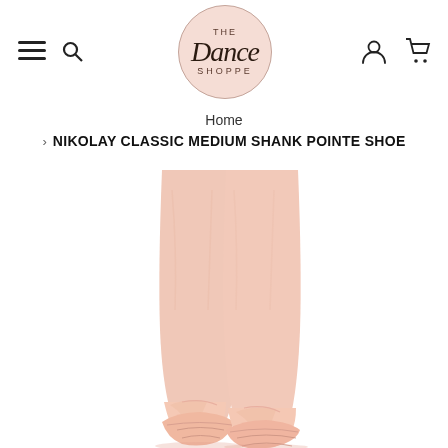[Figure (logo): The Dance Shoppe circular logo with pink/peach background]
Home
> NIKOLAY CLASSIC MEDIUM SHANK POINTE SHOE
[Figure (photo): Dancer's legs in pink tights wearing satin pointe shoes tied with ribbons, cropped view from mid-calf down]